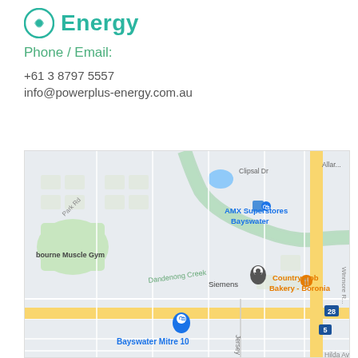[Figure (logo): PowerPlus Energy logo with teal circular icon and teal 'Energy' text]
Phone / Email:
+61 3 8797 5557
info@powerplus-energy.com.au
[Figure (map): Google Maps showing area around Siemens/Bayswater in Melbourne, Australia. Features AMX Superstores Bayswater, Bayswater Mitre 10, Country Cob Bakery - Boronia, Dandenong Creek, bourne Muscle Gym, Clipsal Dr, Corporate Blvd, Jersey Rd, Park Rd, Hilda Ave. Yellow major roads with a location pin near Siemens.]